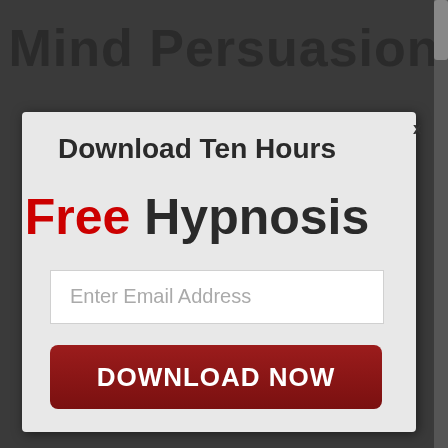Mind Persuasion
x
Download Ten Hours
Free Hypnosis
Enter Email Address
DOWNLOAD NOW